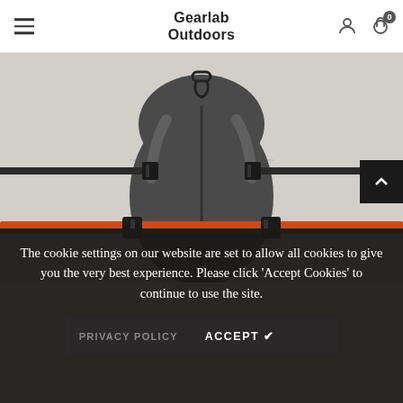Gearlab Outdoors
[Figure (photo): Back view of a dark grey outdoor backpack with orange strap and black buckles, set against a light grey background. Black webbing straps extend horizontally on both sides. A carabiner hook is visible at the top.]
The cookie settings on our website are set to allow all cookies to give you the very best experience. Please click 'Accept Cookies' to continue to use the site.
PRIVACY POLICY   ACCEPT ✔